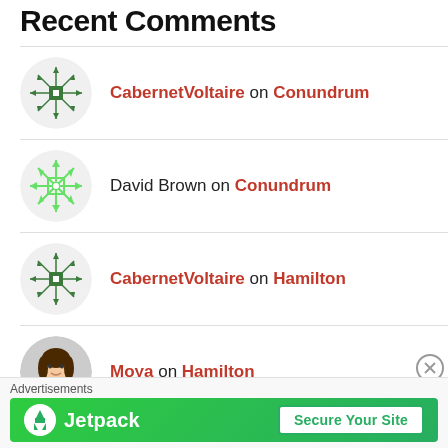Recent Comments
CabernetVoltaire on Conundrum
David Brown on Conundrum
CabernetVoltaire on Hamilton
Moya on Hamilton
laura dorfman on Hamilton
Advertisements
[Figure (infographic): Jetpack advertisement banner with green background, Jetpack logo and text, and a 'Secure Your Site' button]